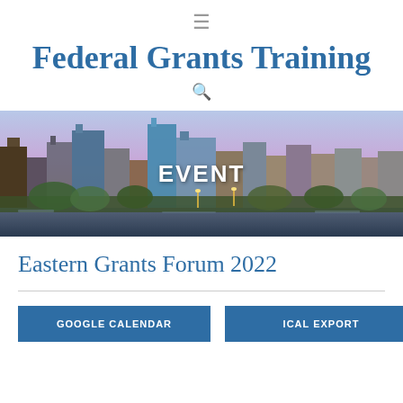Federal Grants Training
[Figure (photo): City skyline panorama at dusk with buildings and trees, with 'EVENT' text overlay]
Eastern Grants Forum 2022
GOOGLE CALENDAR
ICAL EXPORT